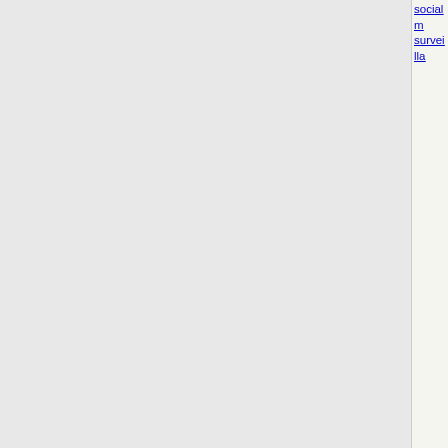founded to promote greater trade and integration in the region, but its scope has expanded to include environmental, climate change, energy, as well as other issues.
In a Statement by APEC leaders, they agreed to a new growth paradigm for the Asia-Pacific region, endorsed the goals of the G20 Framework and rejected protectionism. The leaders launched ◆a pathfinder initiative led by Australia, Canada, Japan, Korea, New Zealand, Singapore, and the United States to practice self-certification of origin so that businesses can better take advantage of free trade agreements in the region.◆ This is in an effort to cut costs for exporters and further boost trade. APEC Leaders also agreed to ◆continue to explore building blocks towards a possible Free Trade Area of the Asia-Pacific in the future.◆
While on his eight-day Asian tour, which included stops in Japan, Singapore, China, as well as South Korea, President Obama recommitted to the Trans-Pacific Partnership (TPP). It was President
social m... surveilla...